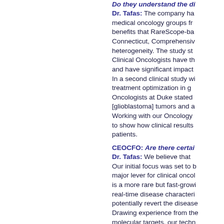Do they understand the di...
Dr. Tafas: The company has... medical oncology groups fr... benefits that RareScope-ba... Connecticut, Comprehensiv... heterogeneity. The study st... Clinical Oncologists have th... and have significant impact ... In a second clinical study wi... treatment optimization in g... Oncologists at Duke stated... [glioblastoma] tumors and a... Working with our Oncology ... to show how clinical results ... patients.
CEOCFO: Are there certai...
Dr. Tafas: We believe that ... Our initial focus was set to b... major lever for clinical oncol... is a more rare but fast-growi... real-time disease characteri... potentially revert the disease... Drawing experience from th... molecular targets, our techn...
CEOCFO: Would you tell u...
Dr. Tafas: The main comp...